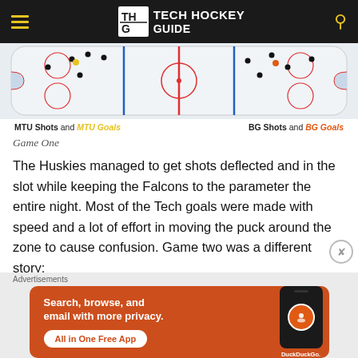Tech Hockey Guide
[Figure (photo): Aerial view of a hockey rink with shot and goal markers for MTU and BG teams]
MTU Shots and MTU Goals   BG Shots and BG Goals
Game One
The Huskies managed to get shots deflected and in the slot while keeping the Falcons to the parameter the entire night. Most of the Tech goals were made with speed and a lot of effort in moving the puck around the zone to cause confusion. Game two was a different story:
[Figure (screenshot): DuckDuckGo advertisement banner: Search, browse, and email with more privacy. All in One Free App.]